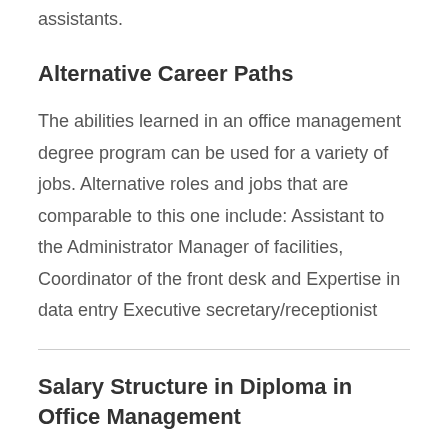assistants.
Alternative Career Paths
The abilities learned in an office management degree program can be used for a variety of jobs. Alternative roles and jobs that are comparable to this one include: Assistant to the Administrator Manager of facilities, Coordinator of the front desk and Expertise in data entry Executive secretary/receptionist
Salary Structure in Diploma in Office Management